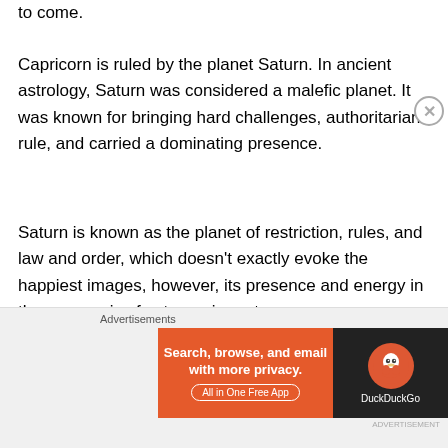to come.
Capricorn is ruled by the planet Saturn. In ancient astrology, Saturn was considered a malefic planet. It was known for bringing hard challenges, authoritarian rule, and carried a dominating presence.
Saturn is known as the planet of restriction, rules, and law and order, which doesn't exactly evoke the happiest images, however, its presence and energy in the cosmos is of extreme importance.
If we look at Saturn with a little more of an open mind, we can see that it brings challenges our way, but also gifts.
[Figure (screenshot): DuckDuckGo advertisement banner: orange left side with text 'Search, browse, and email with more privacy. All in One Free App', dark right side with DuckDuckGo duck logo and brand name.]